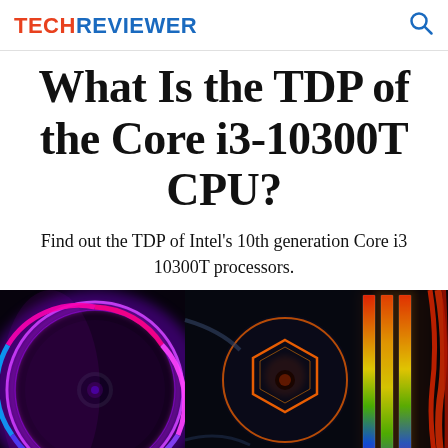TECHREVIEWER
What Is the TDP of the Core i3-10300T CPU?
Find out the TDP of Intel's 10th generation Core i3 10300T processors.
[Figure (photo): RGB-lit PC components including CPU cooler fans, RAM sticks with rainbow RGB lighting, and braided cables inside a computer case, illuminated in vivid purple, green, yellow, orange and red colors against a dark background.]